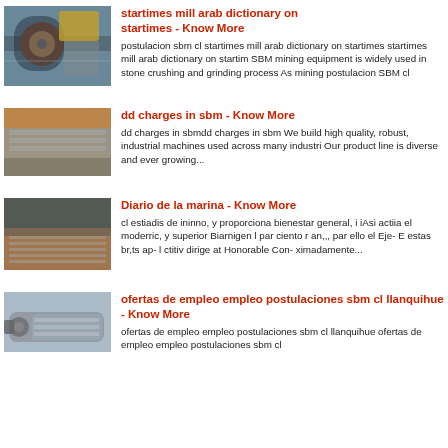startimes mill arab dictionary on startimes - Know More
postulacion sbm cl startimes mill arab dictionary on startimes startimes mill arab dictionary on startim SBM mining equipment is widely used in stone crushing and grinding process As mining postulacion SBM cl
[Figure (photo): Industrial mining/grinding machine with water spray]
dd charges in sbm - Know More
dd charges in sbmdd charges in sbm We build high quality, robust, industrial machines used across many industri Our product line is diverse and ever growing...
[Figure (photo): Industrial metal chute or conveyor structure in warehouse]
Diario de la marina - Know More
cl estiadis de ininno, y proporciona bienestar general, i iAsi actiia el moderric, y superior Biarnigen l par ciento r an,,, par ello el Eje- E estas br,ts ap- l ctitiv dirige at Honorable Con- ximadamente...
[Figure (photo): Industrial metal grating or perforated plate surface]
ofertas de empleo empleo postulaciones sbm cl llanquihue - Know More
ofertas de empleo empleo postulaciones sbm cl llanquihue ofertas de empleo empleo postulaciones sbm cl
[Figure (photo): Industrial vibrating screen or washing machine equipment]